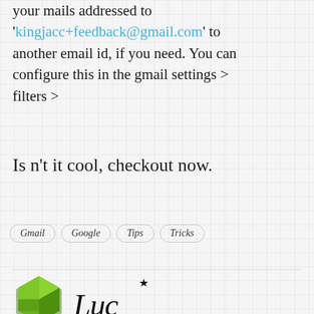your mails addressed to 'kingjacc+feedback@gmail.com' to another email id, if you need. You can configure this in the gmail settings > filters >
Is n't it cool, checkout now.
Gmail
Google
Tips
Tricks
[Figure (logo): Green hexagon logo and 'Luc' script signature with star]